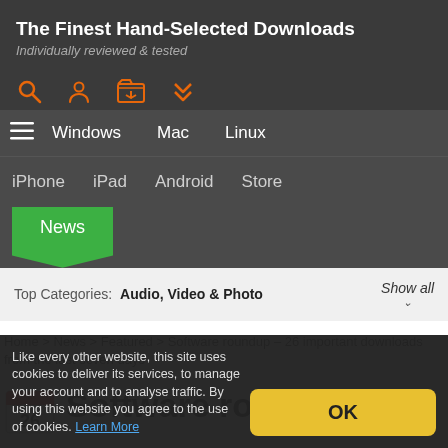The Finest Hand-Selected Downloads
Individually reviewed & tested
[Figure (infographic): Navigation icons: search, user/profile, folder/download, bookmark/double-chevron — all in orange on dark background]
[Figure (infographic): Navigation menu bar with hamburger icon, Windows, Mac, Linux links; second row: iPhone, iPad, Android, Store; News tab in green]
Top Categories:  Audio, Video & Photo  Show all
Home > News > Featured > Software roundup – 26 important downloads from the last seven days
Software roundup – 26
Like every other website, this site uses cookies to deliver its services, to manage your account and to analyse traffic. By using this website you agree to the use of cookies. Learn More